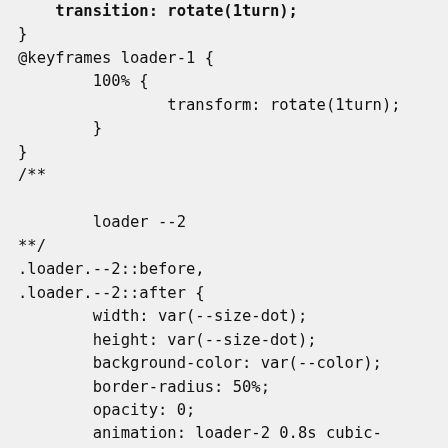}
@keyframes loader-1 {
        100% {
                transform: rotate(1turn);
        }
}
/**

        loader --2
**/
.loader.--2::before,
.loader.--2::after {
        width: var(--size-dot);
        height: var(--size-dot);
        background-color: var(--color);
        border-radius: 50%;
        opacity: 0;
        animation: loader-2 0.8s cubic-
}
.loader.--2::after {
        animation-delay: 0.3s;
}
@keyframes loader-2 {